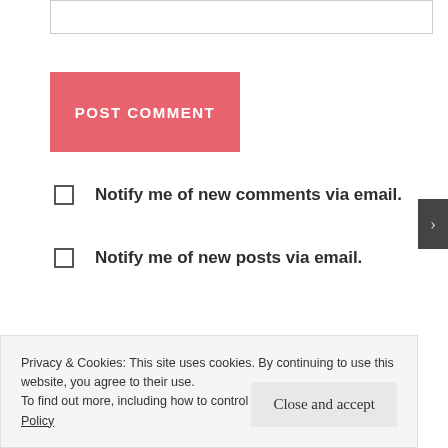[Figure (screenshot): Empty text input box at top of page]
POST COMMENT
Notify me of new comments via email.
Notify me of new posts via email.
Privacy & Cookies: This site uses cookies. By continuing to use this website, you agree to their use.
To find out more, including how to control cookies, see here: Cookie Policy
Close and accept